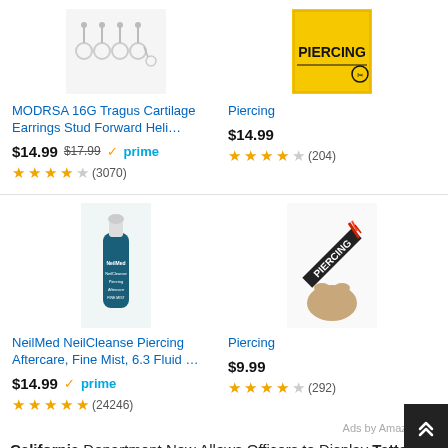[Figure (photo): Product image: MODRSA 16G Tragus Cartilage Earrings studs (top left)]
MODRSA 16G Tragus Cartilage Earrings Stud Forward Heli…
$14.99  $17.99  ✓prime
★★★★☆ (3070)
[Figure (photo): Product image: Piercing book cover with yellow background (top right)]
Piercing
$14.99
★★★★☆ (204)
[Figure (photo): Product image: NeilMed NeilCleanse Piercing Aftercare bottle]
NeilMed NeilCleanse Piercing Aftercare, Fine Mist, 6.3 Fluid …
$14.99  ✓prime
★★★★★ (24246)
[Figure (photo): Product image: Piercing novel cover with rabbit and red feather]
Piercing
$9.99
★★★★☆ (292)
Ads by Amazon
California Department Now Allows Officers to Display Tattoos on Duty, Officers with the